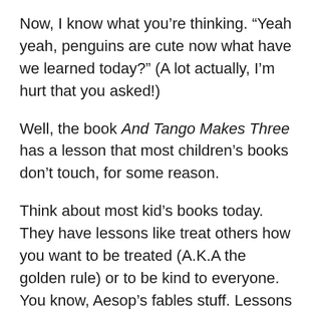Now, I know what you’re thinking. “Yeah yeah, penguins are cute now what have we learned today?” (A lot actually, I’m hurt that you asked!)
Well, the book And Tango Makes Three has a lesson that most children’s books don’t touch, for some reason.
Think about most kid’s books today. They have lessons like treat others how you want to be treated (A.K.A the golden rule) or to be kind to everyone. You know, Aesop’s fables stuff. Lessons like the one in this book are strangely unexplored. This book has a particular soft spot in my heart, considering I know many people who are within the LGBT community, so this book was one of the first times I actually got a chance to learn about it, since you don’t really get to learn about LGBT people and things like that at the age this book it targeted to. If you don’t know what